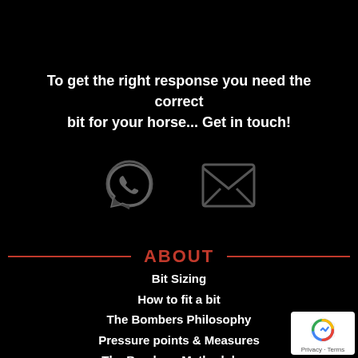To get the right response you need the correct bit for your horse... Get in touch!
[Figure (illustration): WhatsApp phone icon and email envelope icon side by side on black background]
ABOUT
Bit Sizing
How to fit a bit
The Bombers Philosophy
Pressure points & Measures
The Bombers Methodology
The Bombers Moulding Method
Check your equipment
Product care
[Figure (logo): reCAPTCHA badge with Privacy - Terms text]